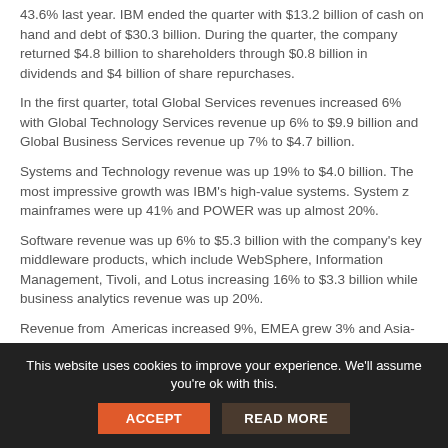43.6% last year. IBM ended the quarter with $13.2 billion of cash on hand and debt of $30.3 billion. During the quarter, the company returned $4.8 billion to shareholders through $0.8 billion in dividends and $4 billion of share repurchases.
In the first quarter, total Global Services revenues increased 6% with Global Technology Services revenue up 6% to $9.9 billion and Global Business Services revenue up 7% to $4.7 billion.
Systems and Technology revenue was up 19% to $4.0 billion. The most impressive growth was IBM's high-value systems. System z mainframes were up 41% and POWER was up almost 20%.
Software revenue was up 6% to $5.3 billion with the company's key middleware products, which include WebSphere, Information Management, Tivoli, and Lotus increasing 16% to $3.3 billion while business analytics revenue was up 20%.
Revenue from Americas increased 9%, EMEA grew 3% and Asia-Pacific increased 12%. IBM continued its expansion into new markets and this quarter, it had double-digit growth in almost 40 growth market countries. Revenue from its growth markets...
This website uses cookies to improve your experience. We'll assume you're ok with this.